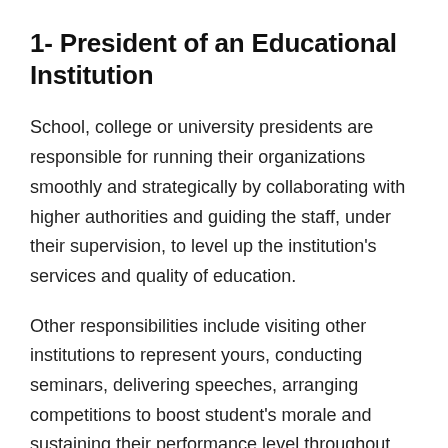1- President of an Educational Institution
School, college or university presidents are responsible for running their organizations smoothly and strategically by collaborating with higher authorities and guiding the staff, under their supervision, to level up the institution’s services and quality of education.
Other responsibilities include visiting other institutions to represent yours, conducting seminars, delivering speeches, arranging competitions to boost student’s morale and sustaining their performance level throughout their academic career.